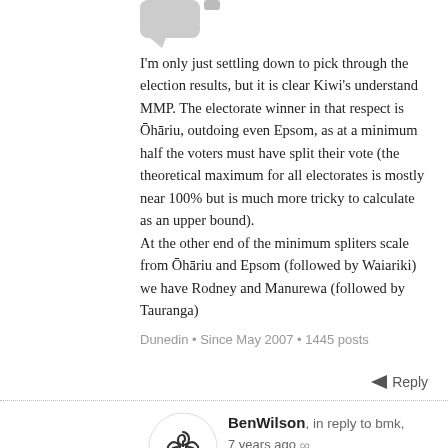[Figure (illustration): Gray speech bubble / avatar icon at top]
I'm only just settling down to pick through the election results, but it is clear Kiwi's understand MMP. The electorate winner in that respect is Ōhāriu, outdoing even Epsom, as at a minimum half the voters must have split their vote (the theoretical maximum for all electorates is mostly near 100% but is much more tricky to calculate as an upper bound).
At the other end of the minimum spliters scale from Ōhāriu and Epsom (followed by Waiariki) we have Rodney and Manurewa (followed by Tauranga)
Dunedin • Since May 2007 • 1445 posts
Reply
[Figure (illustration): Triskelion / triple spiral logo avatar for BenWilson]
BenWilson, in reply to bmk, 7 years ago ∞
There's a much simpler reason it doesn't happen. National and Labour have long known they could do this scheme. But it would lead to a massively embarrassing contest with either party better...